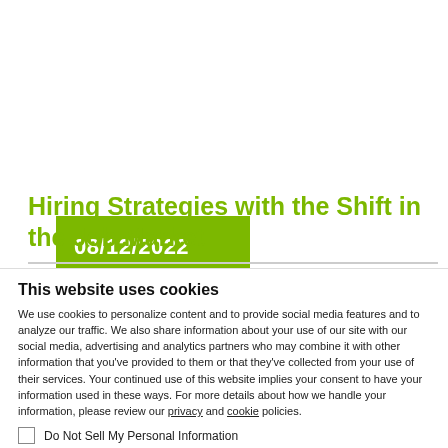08/12/2022
Hiring Strategies with the Shift in the Job Market
This website uses cookies
We use cookies to personalize content and to provide social media features and to analyze our traffic. We also share information about your use of our site with our social media, advertising and analytics partners who may combine it with other information that you've provided to them or that they've collected from your use of their services. Your continued use of this website implies your consent to have your information used in these ways. For more details about how we handle your information, please review our privacy and cookie policies.
Do Not Sell My Personal Information
OK
Show details